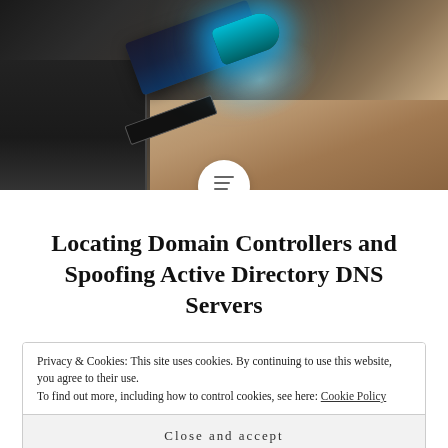[Figure (photo): A USB flash drive with a glowing blue LED tip plugged into a laptop port, resting on a wooden desk surface.]
Locating Domain Controllers and Spoofing Active Directory DNS Servers
Privacy & Cookies: This site uses cookies. By continuing to use this website, you agree to their use.
To find out more, including how to control cookies, see here: Cookie Policy
Close and accept
Public Key Infrastructure: Add extended key usages for